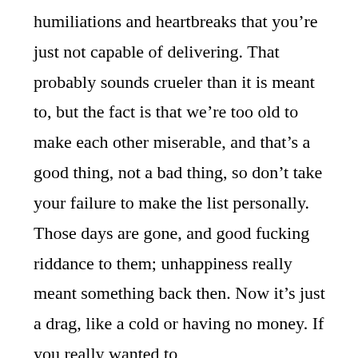humiliations and heartbreaks that you're just not capable of delivering. That probably sounds crueler than it is meant to, but the fact is that we're too old to make each other miserable, and that's a good thing, not a bad thing, so don't take your failure to make the list personally. Those days are gone, and good fucking riddance to them; unhappiness really meant something back then. Now it's just a drag, like a cold or having no money. If you really wanted to